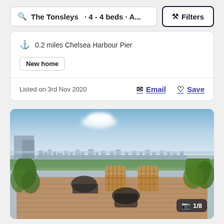The Tonsleys · 4 - 4 beds · A...
Filters
0.2 miles Chelsea Harbour Pier
New home
Listed on 3rd Nov 2020
Email
Save
[Figure (photo): Rooftop terrace with glass balustrade overlooking London skyline with river view, wicker chairs, wooden decking, and potted plants. Photo counter shows 1/8.]